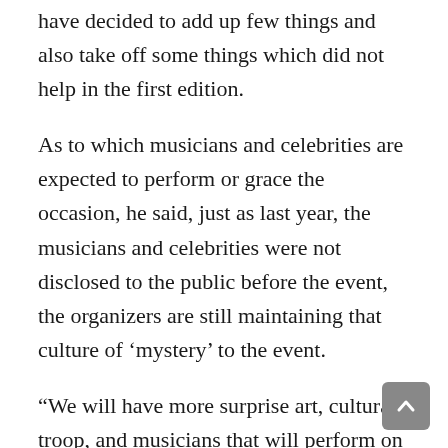have decided to add up few things and also take off some things which did not help in the first edition.
As to which musicians and celebrities are expected to perform or grace the occasion, he said, just as last year, the musicians and celebrities were not disclosed to the public before the event, the organizers are still maintaining that culture of ‘mystery’ to the event.
“We will have more surprise art, cultural troop, and musicians that will perform on that day. Fans would also have the opportunity to eat and learn how to make different types of Kenkey” Nii Attractive said.
The Chief Organizer Mr Manuel Nii Martey Mensah